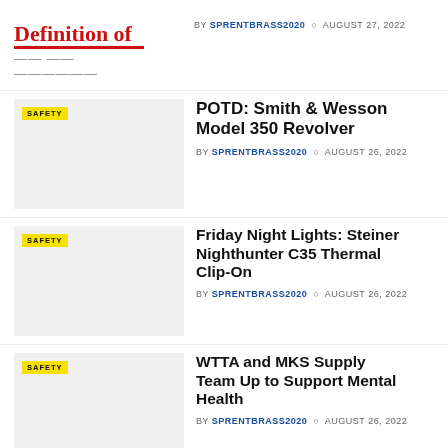[Figure (illustration): Partial image showing bold red italic text 'Definition of' and a decorative underline, cropped at bottom]
BY SPRENTBRASS2020 × AUGUST 27, 2022
[Figure (photo): Thumbnail image with SAFETY badge, gray placeholder background]
POTD: Smith & Wesson Model 350 Revolver
BY SPRENTBRASS2020 × AUGUST 26, 2022
[Figure (photo): Thumbnail image with SAFETY badge, gray placeholder background]
Friday Night Lights: Steiner Nighthunter C35 Thermal Clip-On
BY SPRENTBRASS2020 × AUGUST 26, 2022
[Figure (photo): Thumbnail image with SAFETY badge, gray placeholder background]
WTTA and MKS Supply Team Up to Support Mental Health
BY SPRENTBRASS2020 × AUGUST 26, 2022